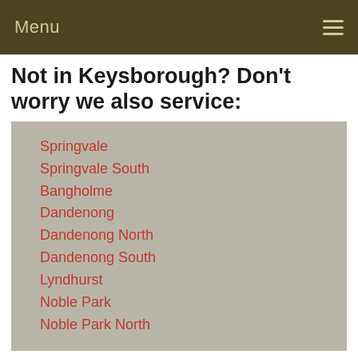Menu
Not in Keysborough? Don't worry we also service:
Springvale
Springvale South
Bangholme
Dandenong
Dandenong North
Dandenong South
Lyndhurst
Noble Park
Noble Park North
Quick Contact Form
* indicates required fields